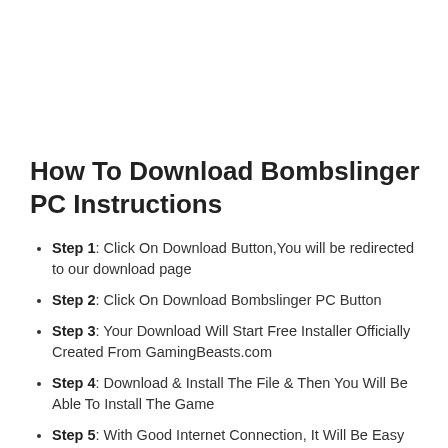How To Download Bombslinger PC Instructions
Step 1: Click On Download Button,You will be redirected to our download page
Step 2: Click On Download Bombslinger PC Button
Step 3: Your Download Will Start Free Installer Officially Created From GamingBeasts.com
Step 4: Download & Install The File & Then You Will Be Able To Install The Game
Step 5: With Good Internet Connection, It Will Be Easy